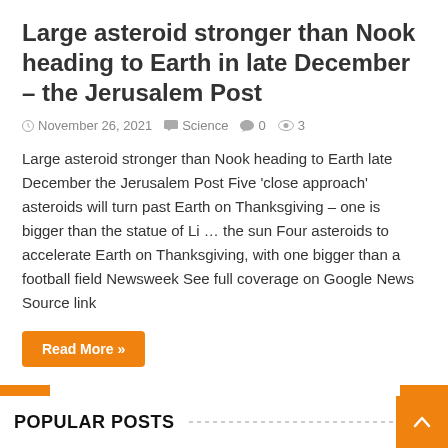Large asteroid stronger than Nook heading to Earth in late December – the Jerusalem Post
November 26, 2021   Science   0   3
Large asteroid stronger than Nook heading to Earth late December the Jerusalem Post Five 'close approach' asteroids will turn past Earth on Thanksgiving – one is bigger than the statue of Li … the sun Four asteroids to accelerate Earth on Thanksgiving, with one bigger than a football field Newsweek See full coverage on Google News Source link
Read More »
1  2  3  4  5  »  10  20  30  ...  Page 1 of 1,344  Last »
POPULAR POSTS